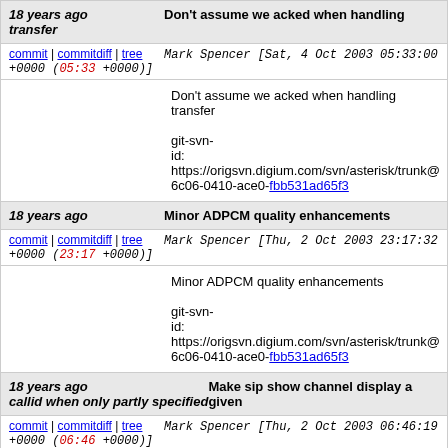18 years ago transfer | Don't assume we acked when handling transfer
commit | commitdiff | tree   Mark Spencer [Sat, 4 Oct 2003 05:33:00 +0000 (05:33 +0000)]
Don't assume we acked when handling transfer

git-svn-id: https://origsvn.digium.com/svn/asterisk/trunk@6c06-0410-ace0-fbb531ad65f3
18 years ago | Minor ADPCM quality enhancements
commit | commitdiff | tree   Mark Spencer [Thu, 2 Oct 2003 23:17:32 +0000 (23:17 +0000)]
Minor ADPCM quality enhancements

git-svn-id: https://origsvn.digium.com/svn/asterisk/trunk@6c06-0410-ace0-fbb531ad65f3
18 years ago | Make sip show channel display a given callid when only partly specified
commit | commitdiff | tree   Mark Spencer [Thu, 2 Oct 2003 06:46:19 +0000 (06:46 +0000)]